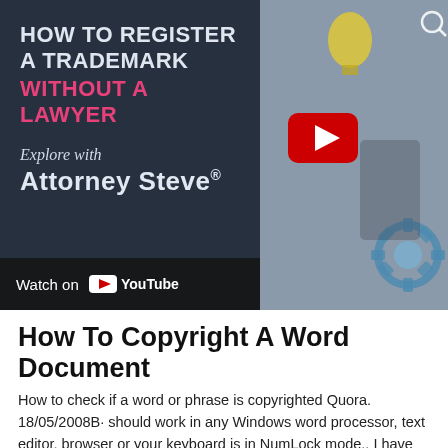[Figure (screenshot): YouTube video thumbnail showing 'How To Register A Trademark Without A Lawyer' with Attorney Steve branding, a red YouTube play button, and a 'Watch on YouTube' bar at the bottom. Background shows office/desk items.]
How To Copyright A Word Document
How to check if a word or phrase is copyrighted Quora. 18/05/2008B· should work in any Windows word processor, text editor, browser or your keyboard is in NumLock mode., I have two both word 2007 do...